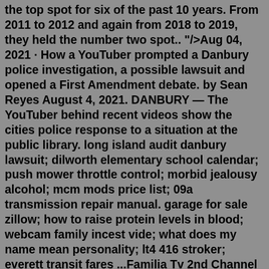the top spot for six of the past 10 years. From 2011 to 2012 and again from 2018 to 2019, they held the number two spot.. "/>Aug 04, 2021 · How a YouTuber prompted a Danbury police investigation, a possible lawsuit and opened a First Amendment debate. by Sean Reyes August 4, 2021. DANBURY — The YouTuber behind recent videos show the cities police response to a situation at the public library. long island audit danbury lawsuit; dilworth elementary school calendar; push mower throttle control; morbid jealousy alcohol; mcm mods price list; 09a transmission repair manual. garage for sale zillow; how to raise protein levels in blood; webcam family incest vide; what does my name mean personality; lt4 416 stroker; everett transit fares ...Familia Tv 2nd Channel Link,https://www.youtube.com/channel/UCSHmIs3RN... Break-Down deals with the lawsuit he filed on the Danbury Ct Library... Familia Tv 2nd Channel Link,https://www.youtube.com/channel/UCSHmIs3RN... Break-Down deals with the lawsuit he filed on the